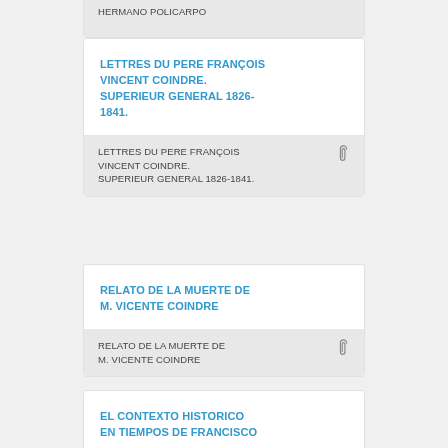HERMANO POLICARPO
LETTRES DU PERE FRANÇOIS VINCENT COINDRE. SUPERIEUR GENERAL 1826-1841.
LETTRES DU PERE FRANÇOIS VINCENT COINDRE. SUPERIEUR GENERAL 1826-1841.
RELATO DE LA MUERTE DE M. VICENTE COINDRE
RELATO DE LA MUERTE DE M. VICENTE COINDRE
EL CONTEXTO HISTORICO EN TIEMPOS DE FRANCISCO